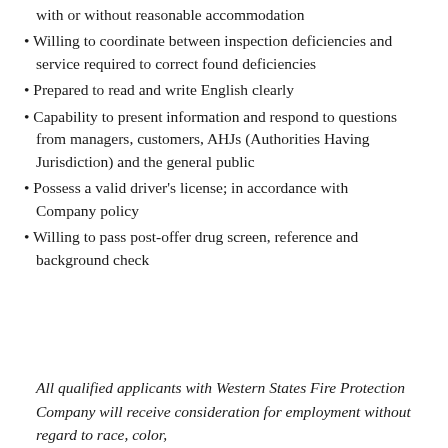with or without reasonable accommodation
• Willing to coordinate between inspection deficiencies and service required to correct found deficiencies
• Prepared to read and write English clearly
• Capability to present information and respond to questions from managers, customers, AHJs (Authorities Having Jurisdiction) and the general public
• Possess a valid driver's license; in accordance with Company policy
• Willing to pass post-offer drug screen, reference and background check
All qualified applicants with Western States Fire Protection Company will receive consideration for employment without regard to race, color,